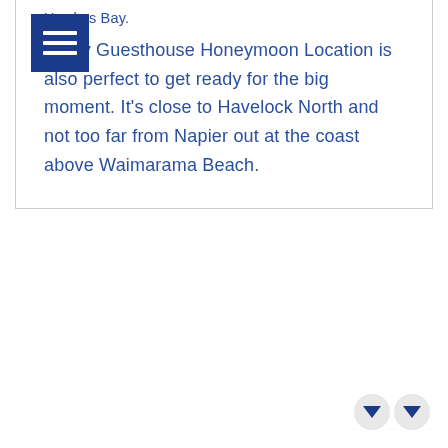Hawkes Bay.
e Bay Guesthouse Honeymoon Location is also perfect to get ready for the big moment. It's close to Havelock North and not too far from Napier out at the coast above Waimarama Beach.